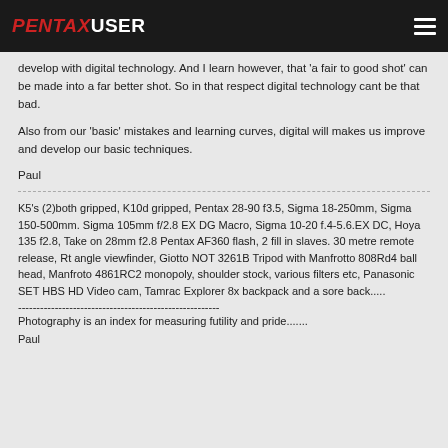PENTAXUSER
develop with digital technology. And I learn however, that 'a fair to good shot' can be made into a far better shot. So in that respect digital technology cant be that bad.
Also from our 'basic' mistakes and learning curves, digital will makes us improve and develop our basic techniques.
Paul
K5's (2)both gripped, K10d gripped, Pentax 28-90 f3.5, Sigma 18-250mm, Sigma 150-500mm. Sigma 105mm f/2.8 EX DG Macro, Sigma 10-20 f.4-5.6.EX DC, Hoya 135 f2.8, Take on 28mm f2.8 Pentax AF360 flash, 2 fill in slaves. 30 metre remote release, Rt angle viewfinder, Giotto NOT 3261B Tripod with Manfrotto 808Rd4 ball head, Manfroto 4861RC2 monopoly, shoulder stock, various filters etc, Panasonic SET HBS HD Video cam, Tamrac Explorer 8x backpack and a sore back.....
Photography is an index for measuring futility and pride.......
Paul